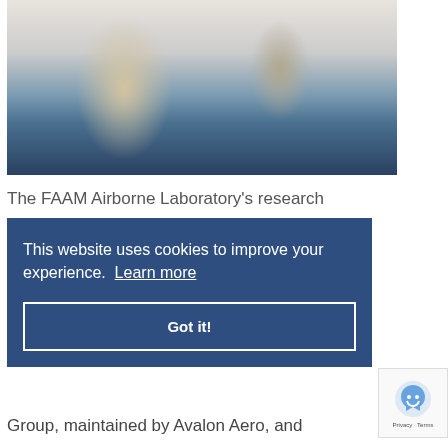[Figure (photo): Two people working in a laboratory setting, examining electronic/optical equipment on a lab bench. A man in a cream knit sweater and a woman in a grey cardigan are focused on technical apparatus. Computer monitors and lab equipment visible in background.]
The FAAM Airborne Laboratory's research
This website uses cookies to improve your experience.  Learn more
Got it!
Group, maintained by Avalon Aero, and